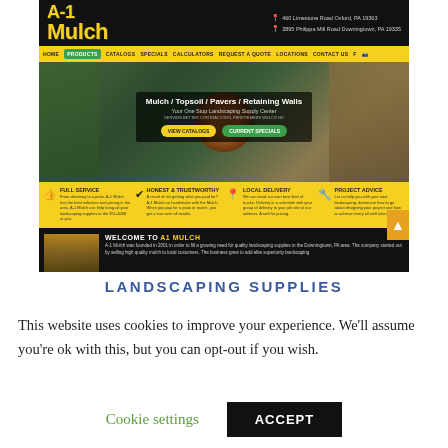[Figure (screenshot): Screenshot of A-1 Mulch landscaping supplies website showing logo, navigation bar with HOME, PRODUCTS, CATALOGS, SPECIALS, CALCULATORS, REQUEST A QUOTE, LOCATIONS, CONTACT US, a hero image of a patio with fire pit, headline 'Mulch / Topsoil / Pavers / Retaining Walls', two CTA buttons 'VIEW CATALOGS' and 'CURRENT SPECIALS', a yellow features bar with Full Service, Honest & Trustworthy, Local Delivery, Project Advice icons and text, and a Welcome to A1 Mulch section with image and introductory text.]
LANDSCAPING SUPPLIES
This website uses cookies to improve your experience. We'll assume you're ok with this, but you can opt-out if you wish.
Cookie settings   ACCEPT